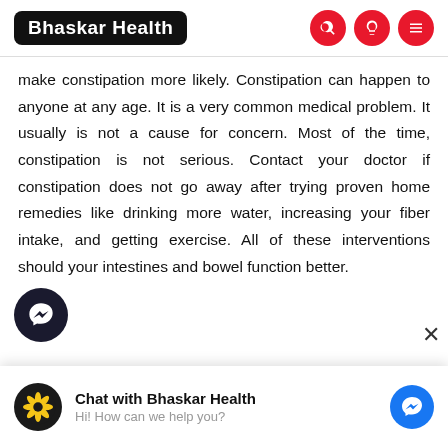Bhaskar Health
make constipation more likely. Constipation can happen to anyone at any age. It is a very common medical problem. It usually is not a cause for concern. Most of the time, constipation is not serious. Contact your doctor if constipation does not go away after trying proven home remedies like drinking more water, increasing your fiber intake, and getting exercise. All of these interventions should your intestines and bowel function better.
[Figure (screenshot): Chat with Bhaskar Health messenger widget at bottom with logo and blue messenger icon]
Chat with Bhaskar Health
Hi! How can we help you?